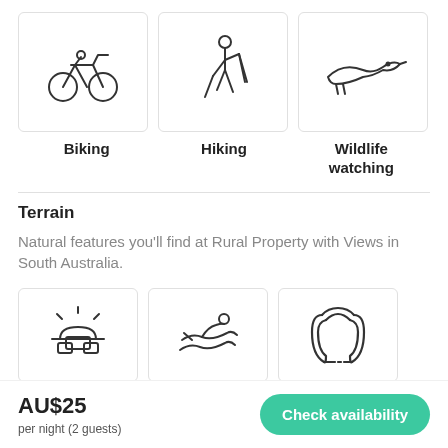[Figure (illustration): Three icon cards in a row: bicycle icon (Biking), hiker with poles icon (Hiking), bird icon (Wildlife watching)]
Biking
Hiking
Wildlife watching
Terrain
Natural features you'll find at Rural Property with Views in South Australia.
[Figure (illustration): Three icon cards in a row: sunrise/landscape icon, swimmer icon, horseshoe icon]
AU$25
per night (2 guests)
Check availability